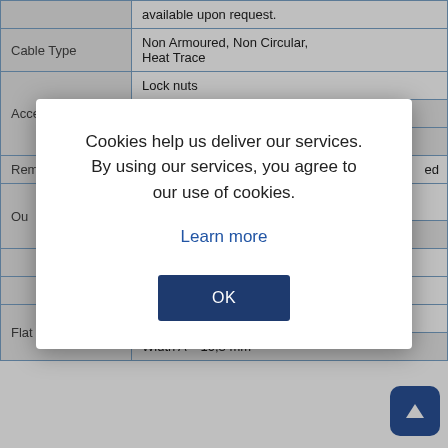| Category | Sub-category | Value |
| --- | --- | --- |
|  |  | available upon request. |
| Cable Type |  | Non Armoured, Non Circular, Heat Trace |
| Accessories |  | Lock nuts |
| Accessories |  | Gaskets ( Washers ) |
| Accessories |  | Dust Plugs |
| Rem... |  | ...ed |
| Ou... | Length (TL) | 10,8 mm |
|  | Ø (D) | 30,9 mm |
| Flat Hole | Height B | 6,0 mm |
| Flat Hole | Width A | 10,8 mm |
Cookies help us deliver our services. By using our services, you agree to our use of cookies.
Learn more
OK